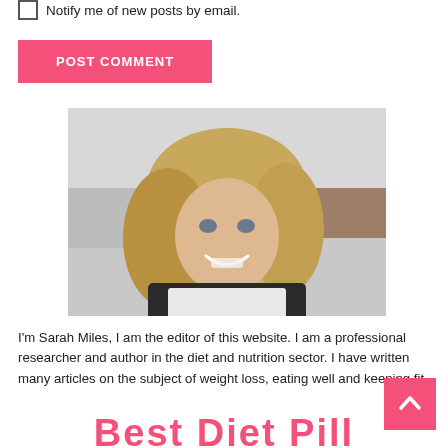Notify me of new posts by email.
POST COMMENT
[Figure (photo): Portrait photo of Sarah Miles, a smiling blonde woman wearing a white top and dark jacket, photographed outdoors.]
I'm Sarah Miles, I am the editor of this website. I am a professional researcher and author in the diet and nutrition sector. I have written many articles on the subject of weight loss, eating well and keeping fit.